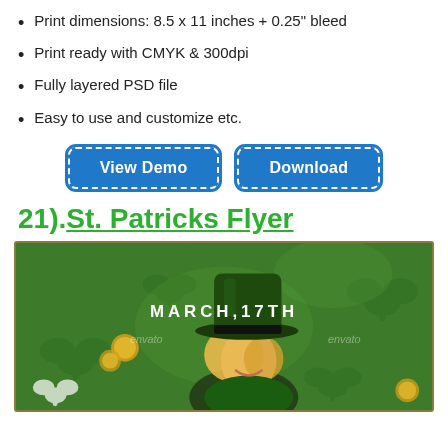Print dimensions: 8.5 x 11 inches + 0.25" bleed
Print ready with CMYK & 300dpi
Fully layered PSD file
Easy to use and customize etc.
[Figure (other): Two blue buttons: 'View Demo' and 'Download' with dashed white borders on blue rounded rectangles]
21). St. Patricks Flyer
[Figure (photo): St. Patrick's Day flyer preview showing a woman in a green leprechaun hat on a green shamrock background with text 'MARCH,17TH' and watermark 'envato']